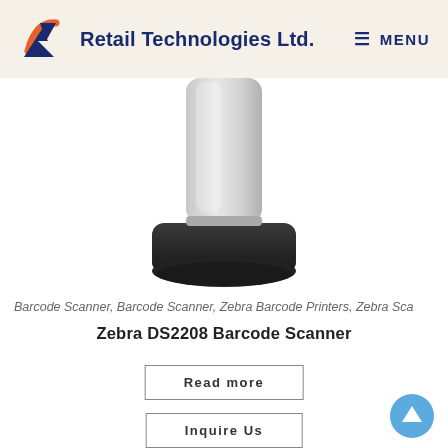Retail Technologies Ltd. MENU
[Figure (photo): Close-up photo of the base of a Zebra DS2208 Barcode Scanner — a white/grey cylindrical body sitting in a black cradle/stand]
Barcode Scanner, Barcode Scanner, Zebra Barcode Printers, Zebra Sca
Zebra DS2208 Barcode Scanner
Read more
Inquire Us